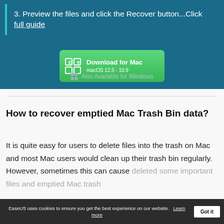3. Preview the files and click the Recover button...Click full guide
[Figure (screenshot): Green download button with icon: Download for Mac, macOS 12.5 - 10.9]
Also Available for Windows
How to recover emptied Mac Trash Bin data?
It is quite easy for users to delete files into the trash on Mac and most Mac users would clean up their trash bin regularly. However, sometimes this can cause deleted some important files and emptied Mac trash
EaseUS uses cookies to ensure you get the best experience on our website.  Learn more  Got it